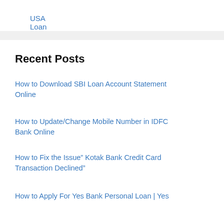USA Loan Apps
Recent Posts
How to Download SBI Loan Account Statement Online
How to Update/Change Mobile Number in IDFC Bank Online
How to Fix the Issue” Kotak Bank Credit Card Transaction Declined”
How to Apply For Yes Bank Personal Loan | Yes